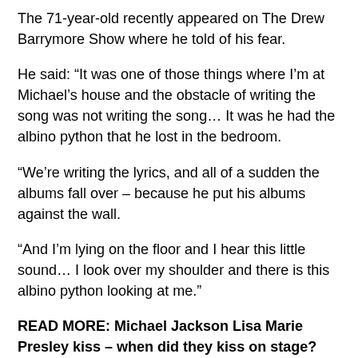The 71-year-old recently appeared on The Drew Barrymore Show where he told of his fear.
He said: “It was one of those things where I’m at Michael’s house and the obstacle of writing the song was not writing the song… It was he had the albino python that he lost in the bedroom.
“We’re writing the lyrics, and all of a sudden the albums fall over – because he put his albums against the wall.
“And I’m lying on the floor and I hear this little sound… I look over my shoulder and there is this albino python looking at me.”
READ MORE: Michael Jackson Lisa Marie Presley kiss – when did they kiss on stage?
Rich is told Drew: “It was scary, like, the short...